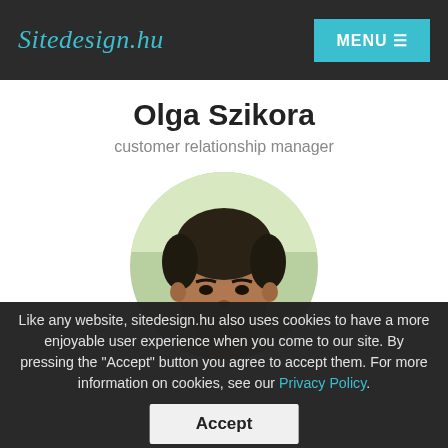Sitedesign.hu  MENU
Olga Szikora
customer relationship manager
[Figure (photo): Circular cropped profile photo of a person with short dark hair, viewed from above/front]
Like any website, sitedesign.hu also uses cookies to have a more enjoyable user experience when you come to our site. By pressing the "Accept" button you agree to accept them. For more information on cookies, see our Privacy Policy.
Accept